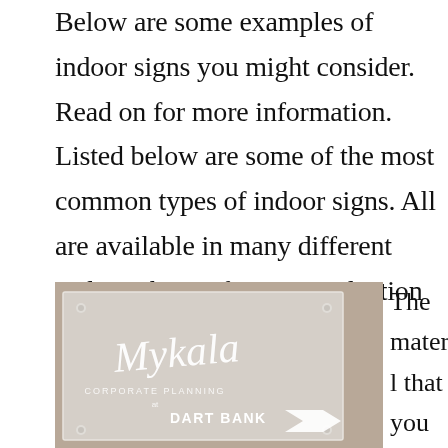Below are some examples of indoor signs you might consider. Read on for more information. Listed below are some of the most common types of indoor signs. All are available in many different styles. Choose from our selection below.
[Figure (photo): Photo of a frosted acrylic indoor sign mounted on a wall. The sign shows 'Mykala Corporate Planning at Dart Bank' with decorative script lettering and an arrow graphic.]
The material that you choose